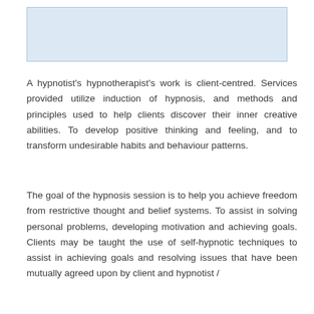[Figure (other): Light blue rectangular box, empty, serving as a placeholder image or content area at the top of the page.]
A hypnotist's hypnotherapist's work is client-centred. Services provided utilize induction of hypnosis, and methods and principles used to help clients discover their inner creative abilities. To develop positive thinking and feeling, and to transform undesirable habits and behaviour patterns.
The goal of the hypnosis session is to help you achieve freedom from restrictive thought and belief systems. To assist in solving personal problems, developing motivation and achieving goals. Clients may be taught the use of self-hypnotic techniques to assist in achieving goals and resolving issues that have been mutually agreed upon by client and hypnotist /